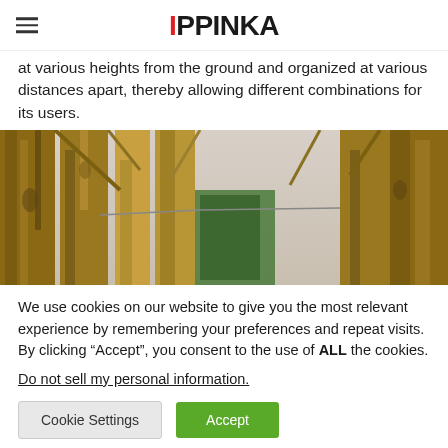IPPINKA
at various heights from the ground and organized at various distances apart, thereby allowing different combinations for its users.
[Figure (photo): Outdoor photo looking up through trees with bare branches and textured bark, with what appears to be a green structural element visible among the trees.]
We use cookies on our website to give you the most relevant experience by remembering your preferences and repeat visits. By clicking “Accept”, you consent to the use of ALL the cookies.
Do not sell my personal information.